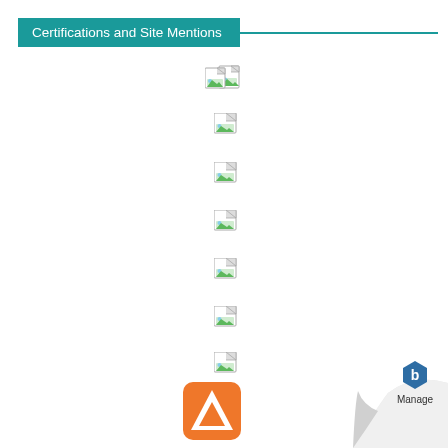Certifications and Site Mentions
[Figure (illustration): Broken/missing image placeholder icon (double) representing certifications]
[Figure (illustration): Broken/missing image placeholder icon 1]
[Figure (illustration): Broken/missing image placeholder icon 2]
[Figure (illustration): Broken/missing image placeholder icon 3]
[Figure (illustration): Broken/missing image placeholder icon 4]
[Figure (illustration): Broken/missing image placeholder icon 5]
[Figure (illustration): Broken/missing image placeholder icon 6]
[Figure (illustration): Broken/missing image placeholder icon 7]
[Figure (logo): Arch Linux logo — orange triangle with white 'A']
[Figure (illustration): Page curl graphic in bottom right with Manage (b) logo]